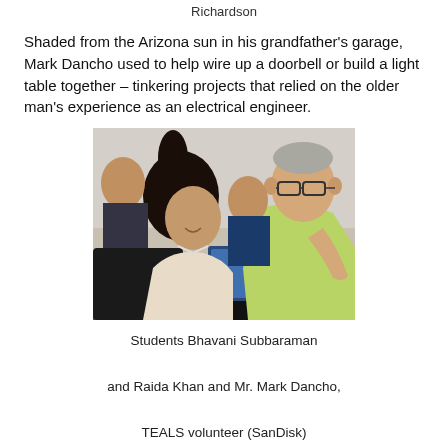Richardson
Shaded from the Arizona sun in his grandfather’s garage, Mark Dancho used to help wire up a doorbell or build a light table together – tinkering projects that relied on the older man’s experience as an electrical engineer.
[Figure (photo): A man in a green shirt wearing glasses leans over to help two female students who are looking at a tablet or laptop device on a desk. Other students are visible in the background.]
Students Bhavani Subbaraman and Raida Khan and Mr. Mark Dancho, TEALS volunteer (SanDisk)